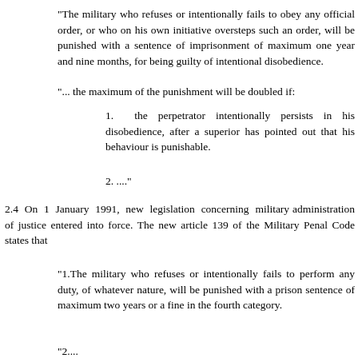"The military who refuses or intentionally fails to obey any official order, or who on his own initiative oversteps such an order, will be punished with a sentence of imprisonment of maximum one year and nine months, for being guilty of intentional disobedience.
"... the maximum of the punishment will be doubled if:
1.  the perpetrator intentionally persists in his disobedience, after a superior has pointed out that his behaviour is punishable.
2. ...."
2.4  On  1  January  1991,  new  legislation  concerning  military administration of justice entered into force. The new article 139 of the Military Penal Code states that
"1.The military who refuses or intentionally fails to perform any duty, of whatever nature, will be punished with a prison sentence of maximum two years or a fine in the fourth category.
"2...."